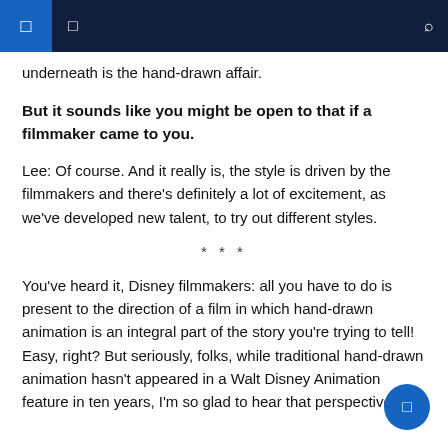Navigation header bar
underneath is the hand-drawn affair.
But it sounds like you might be open to that if a filmmaker came to you.
Lee: Of course. And it really is, the style is driven by the filmmakers and there's definitely a lot of excitement, as we've developed new talent, to try out different styles.
***
You've heard it, Disney filmmakers: all you have to do is present to the direction of a film in which hand-drawn animation is an integral part of the story you're trying to tell! Easy, right? But seriously, folks, while traditional hand-drawn animation hasn't appeared in a Walt Disney Animation feature in ten years, I'm so glad to hear that perspective isn't